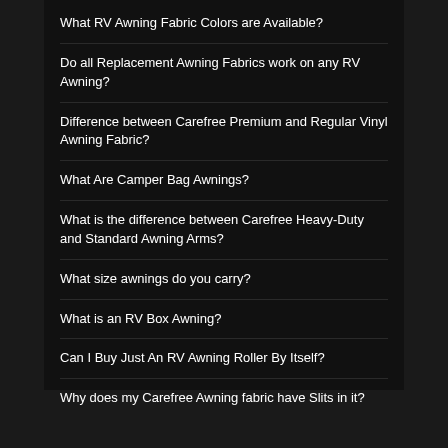What RV Awning Fabric Colors are Available?
Do all Replacement Awning Fabrics work on any RV Awning?
Difference between Carefree Premium and Regular Vinyl Awning Fabric?
What Are Camper Bag Awnings?
What is the difference between Carefree Heavy-Duty and Standard Awning Arms?
What size awnings do you carry?
What is an RV Box Awning?
Can I Buy Just An RV Awning Roller By Itself?
Why does my Carefree Awning fabric have Slits in it?